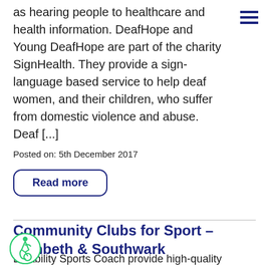as hearing people to healthcare and health information. DeafHope and Young DeafHope are part of the charity SignHealth. They provide a sign-language based service to help deaf women, and their children, who suffer from domestic violence and abuse.  Deaf [...]
Posted on: 5th December 2017
Read more
Community Clubs for Sport – Lambeth & Southwark
Disability Sports Coach provide high-quality rting opportunities for people with disabilities throughout the UK.  DSC